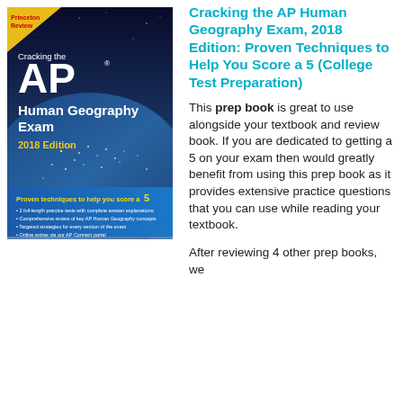[Figure (illustration): Book cover of 'Cracking the AP Human Geography Exam, 2018 Edition' by Princeton Review. Cover shows an aerial night view of city lights on Earth, with the title in large white text and a blue banner reading 'Proven techniques to help you score a 5'.]
Cracking the AP Human Geography Exam, 2018 Edition: Proven Techniques to Help You Score a 5 (College Test Preparation)
This prep book is great to use alongside your textbook and review book. If you are dedicated to getting a 5 on your exam then would greatly benefit from using this prep book as it provides extensive practice questions that you can use while reading your textbook.
After reviewing 4 other prep books, we